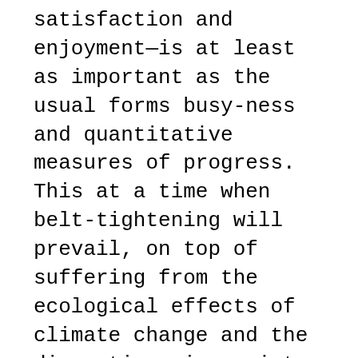satisfaction and enjoyment—is at least as important as the usual forms busy-ness and quantitative measures of progress. This at a time when belt-tightening will prevail, on top of suffering from the ecological effects of climate change and the disruptions in society that will follow.
Human beings have always been fundamentally social and cooperative, in spite of the modern turn away from traditional social interactions toward competitive striving, individual consumption, private entertainment, and atomized relationships among individuals